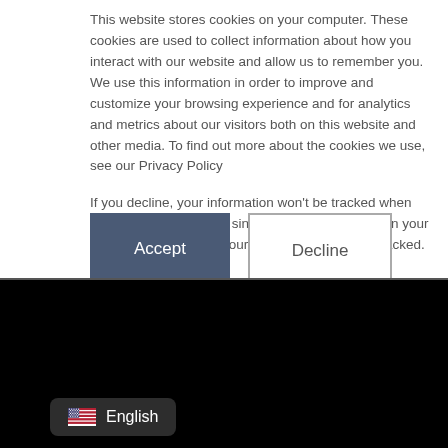This website stores cookies on your computer. These cookies are used to collect information about how you interact with our website and allow us to remember you. We use this information in order to improve and customize your browsing experience and for analytics and metrics about our visitors both on this website and other media. To find out more about the cookies we use, see our Privacy Policy

If you decline, your information won't be tracked when you visit this website. A single cookie will be used in your browser to remember your preference not to be tracked.
[Figure (other): Accept and Decline cookie consent buttons]
[Figure (other): Dark black background section at bottom of page]
[Figure (other): Language selector badge showing US flag and English text]